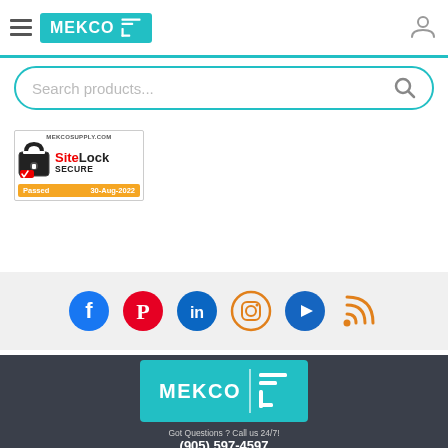[Figure (logo): Mekco logo with teal background in header navigation bar]
[Figure (screenshot): Search products input field with teal border and search icon]
[Figure (logo): SiteLock Secure badge - Passed 30-Aug-2022 for mekcosupply.com]
[Figure (infographic): Row of social media icons: Facebook, Pinterest, LinkedIn, Instagram, YouTube, RSS feed]
[Figure (logo): Large Mekco logo on teal background in footer]
Got Questions ? Call us 24/7!
(905) 597-4597